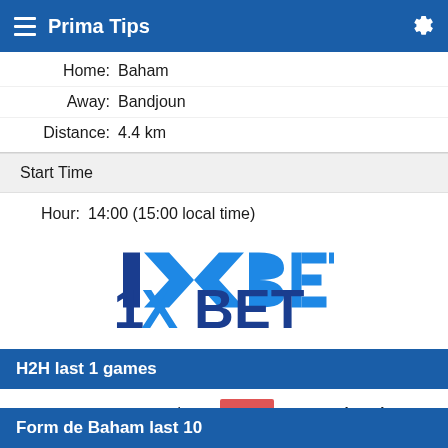Prima Tips
Home: Baham
Away: Bandjoun
Distance: 4.4 km
Start Time
Hour: 14:00 (15:00 local time)
[Figure (logo): 1XBET logo in blue and dark blue colors]
H2H last 1 games
| Date | Home | Score | Away |
| --- | --- | --- | --- |
| 2019-11-06 | Feutcheu | 2 - 1 | Fovu de Baham |
Form de Baham last 10